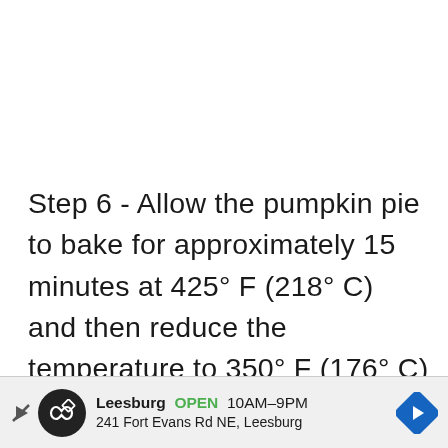Step 6 - Allow the pumpkin pie to bake for approximately 15 minutes at 425° F (218° C) and then reduce the temperature to 350° F (176° C) and continue baking your pie for approximately 45 minutes or until the center is completely cooked.
[Figure (other): Advertisement banner for Leesburg store: circular logo with infinity symbol, showing 'Leesburg OPEN 10AM-9PM, 241 Fort Evans Rd NE, Leesburg' with navigation arrow icon on the right.]